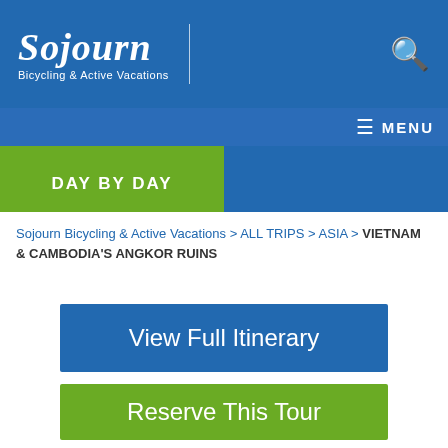Sojourn Bicycling & Active Vacations
DAY BY DAY
Sojourn Bicycling & Active Vacations > ALL TRIPS > ASIA > VIETNAM & CAMBODIA'S ANGKOR RUINS
View Full Itinerary
Reserve This Tour
ALL TRIP SCHEDULE